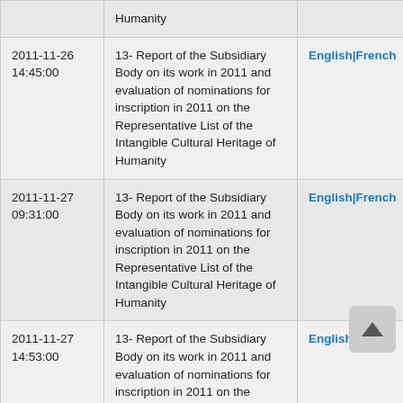| Date | Document | Languages |
| --- | --- | --- |
|  | Humanity |  |
| 2011-11-26 14:45:00 | 13- Report of the Subsidiary Body on its work in 2011 and evaluation of nominations for inscription in 2011 on the Representative List of the Intangible Cultural Heritage of Humanity | English|French |
| 2011-11-27 09:31:00 | 13- Report of the Subsidiary Body on its work in 2011 and evaluation of nominations for inscription in 2011 on the Representative List of the Intangible Cultural Heritage of Humanity | English|French |
| 2011-11-27 14:53:00 | 13- Report of the Subsidiary Body on its work in 2011 and evaluation of nominations for inscription in 2011 on the Representative List of the Intangible Cultural Heritage of Humanity | English|French |
| 2011-11-27 19:13:00 | 13- Report of the Subsidiary Body on its work in 2011 and evaluation | English|French |